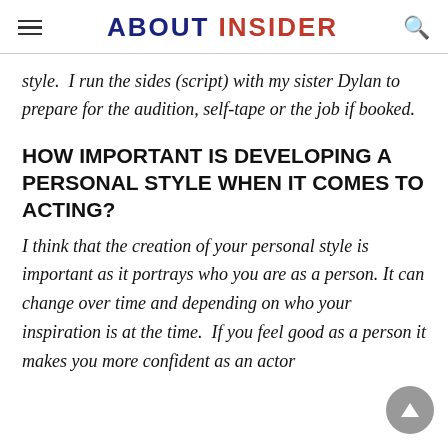ABOUT INSIDER
style.  I run the sides (script) with my sister Dylan to prepare for the audition, self-tape or the job if booked.
HOW IMPORTANT IS DEVELOPING A PERSONAL STYLE WHEN IT COMES TO ACTING?
I think that the creation of your personal style is important as it portrays who you are as a person. It can change over time and depending on who your inspiration is at the time.  If you feel good as a person it makes you more confident as an actor